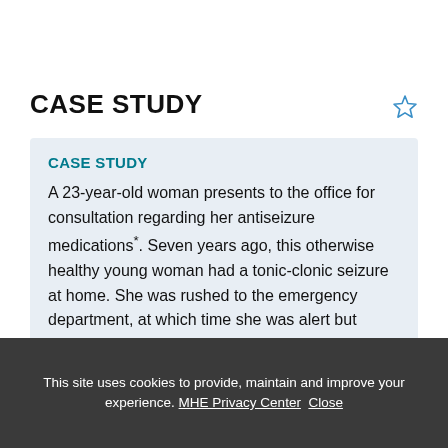CASE STUDY
CASE STUDY
A 23-year-old woman presents to the office for consultation regarding her antiseizure medications*. Seven years ago, this otherwise healthy young woman had a tonic-clonic seizure at home. She was rushed to the emergency department, at which time she was alert but
This site uses cookies to provide, maintain and improve your experience. MHE Privacy Center Close